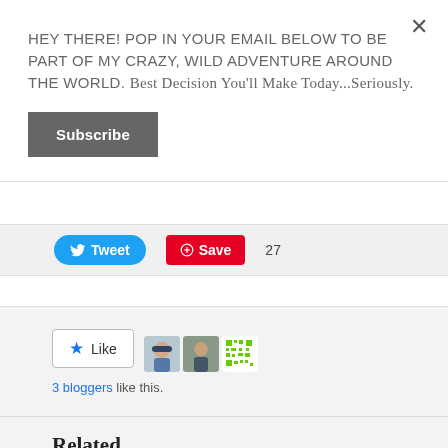HEY THERE! POP IN YOUR EMAIL BELOW TO BE PART OF MY CRAZY, WILD ADVENTURE AROUND THE WORLD. Best Decision You'll Make Today...Seriously.
Subscribe
Tweet
Save  27
Like  3 bloggers like this.
Related